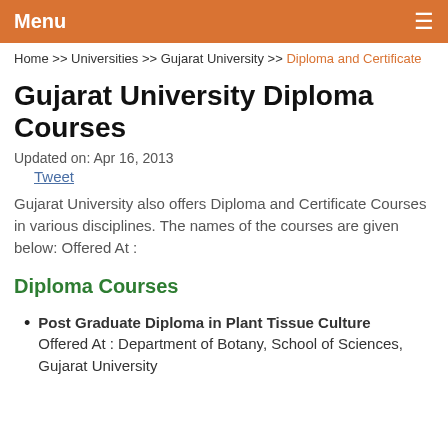Menu
Home >> Universities >> Gujarat University >> Diploma and Certificate
Gujarat University Diploma Courses
Updated on: Apr 16, 2013
Tweet
Gujarat University also offers Diploma and Certificate Courses in various disciplines. The names of the courses are given below: Offered At :
Diploma Courses
Post Graduate Diploma in Plant Tissue Culture
Offered At : Department of Botany, School of Sciences, Gujarat University